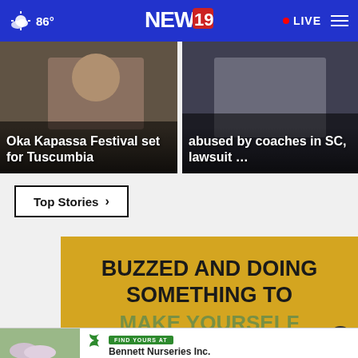86° NEWS 19 • LIVE
[Figure (photo): News card: Oka Kapassa Festival set for Tuscumbia]
[Figure (photo): News card: abused by coaches in SC, lawsuit ...]
Top Stories ›
[Figure (infographic): Ad banner with golden background: BUZZED AND DOING SOMETHING TO MAKE YOURSELF]
[Figure (infographic): Bottom ad strip: FIND YOURS AT Bennett Nurseries Inc.]